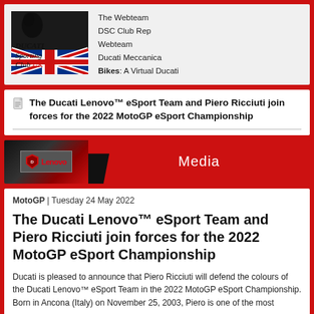[Figure (logo): Ducati Sporting Club UK logo with Union Jack flag]
The Webteam
DSC Club Rep
Webteam
Ducati Meccanica
Bikes: A Virtual Ducati
The Ducati Lenovo™ eSport Team and Piero Ricciuti join forces for the 2022 MotoGP eSport Championship
[Figure (illustration): Ducati Lenovo Team Media banner with Ducati and Lenovo logos on dark/red background]
MotoGP | Tuesday 24 May 2022
The Ducati Lenovo™ eSport Team and Piero Ricciuti join forces for the 2022 MotoGP eSport Championship
Ducati is pleased to announce that Piero Ricciuti will defend the colours of the Ducati Lenovo™ eSport Team in the 2022 MotoGP eSport Championship. Born in Ancona (Italy) on November 25, 2003, Piero is one of the most